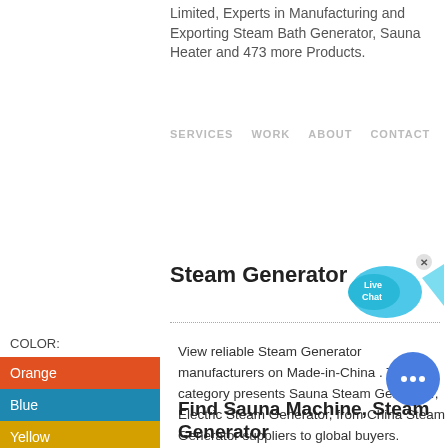Limited, Experts in Manufacturing and Exporting Steam Bath Generator, Sauna Heater and 473 more Products.
SERVICES   WORK   ABOUT   CONTACT
Steam Generator
[Figure (illustration): Live Chat speech bubble icon with a blue fish shape and an X close button]
View reliable Steam Generator manufacturers on Made-in-China . This category presents Sauna Steam Generator, Electric Steam Generator, from China Steam Generator suppliers to global buyers.
COLOR:
Orange
Blue
Yellow
[Figure (illustration): Round blue chat / messaging button with three dots]
Find Sauna Machine, Steam Generator